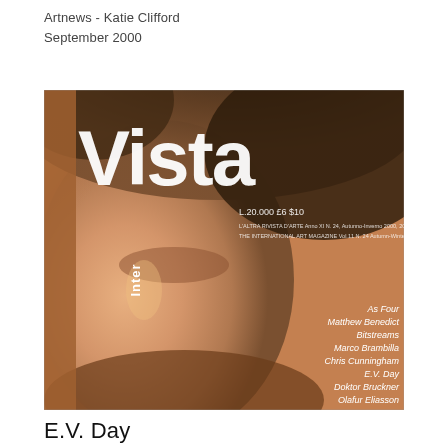Artnews - Katie Clifford
September 2000
[Figure (photo): Magazine cover of 'InterVista' showing a close-up blurred face with large white bold 'Vista' title and 'Inter' in vertical text on the left spine. Right side lists contributors: As Four, Matthew Benedict, Bitstreams, Marco Brambilla, Chris Cunningham, E.V. Day, Doktor Bruckner, Olafur Eliasson. Price shown: L.20.000 £6 $10. Autumn-Inverno 2000, 2001.]
E.V. Day